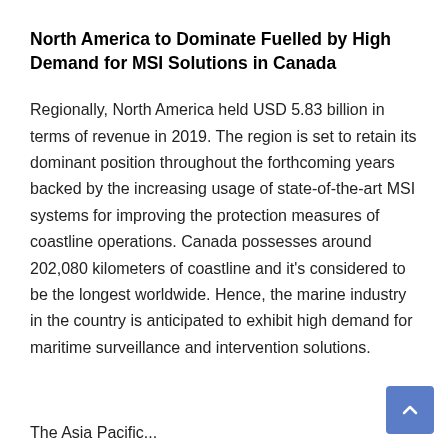North America to Dominate Fuelled by High Demand for MSI Solutions in Canada
Regionally, North America held USD 5.83 billion in terms of revenue in 2019. The region is set to retain its dominant position throughout the forthcoming years backed by the increasing usage of state-of-the-art MSI systems for improving the protection measures of coastline operations. Canada possesses around 202,080 kilometers of coastline and it's considered to be the longest worldwide. Hence, the marine industry in the country is anticipated to exhibit high demand for maritime surveillance and intervention solutions.
The Asia Pacific...